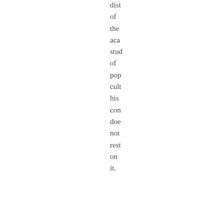dist of the aca stud of pop cult his con doe not rest on it.